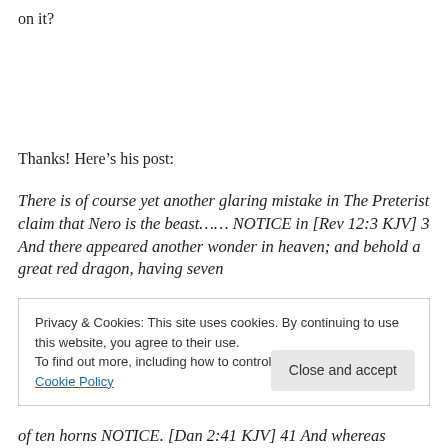on it?
Thanks! Here’s his post:
There is of course yet another glaring mistake in The Preterist claim that Nero is the beast…… NOTICE in [Rev 12:3 KJV] 3 And there appeared another wonder in heaven; and behold a great red dragon, having seven
Privacy & Cookies: This site uses cookies. By continuing to use this website, you agree to their use.
To find out more, including how to control cookies, see here: Cookie Policy
of ten horns NOTICE. [Dan 2:41 KJV] 41 And whereas